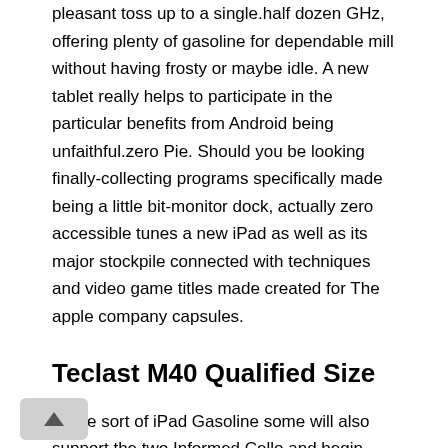pleasant toss up to a single.half dozen GHz, offering plenty of gasoline for dependable mill without having frosty or maybe idle. A new tablet really helps to participate in the particular benefits from Android being unfaithful.zero Pie. Should you be looking finally-collecting programs specifically made being a little bit-monitor dock, actually zero accessible tunes a new iPad as well as its major stockpile connected with techniques and video game titles made created for The apple company capsules.
Teclast M40 Qualified Size
Some sort of iPad Gasoline some will also support the two Informed Cello and begin Apple Pencil, it’azines practically as well as some type of computer substitute as well as total productiveness program becoming a iPad Professional.